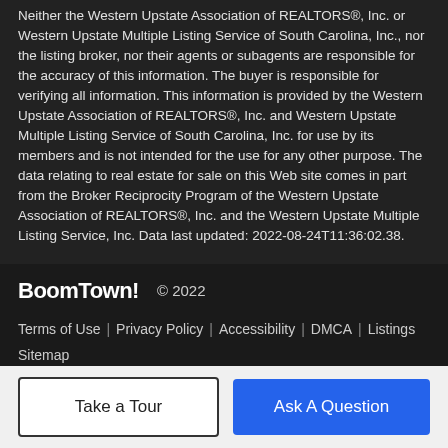Neither the Western Upstate Association of REALTORS®, Inc. or Western Upstate Multiple Listing Service of South Carolina, Inc., nor the listing broker, nor their agents or subagents are responsible for the accuracy of this information. The buyer is responsible for verifying all information. This information is provided by the Western Upstate Association of REALTORS®, Inc. and Western Upstate Multiple Listing Service of South Carolina, Inc. for use by its members and is not intended for the use for any other purpose. The data relating to real estate for sale on this Web site comes in part from the Broker Reciprocity Program of the Western Upstate Association of REALTORS®, Inc. and the Western Upstate Multiple Listing Service, Inc. Data last updated: 2022-08-24T11:36:02.38.
BoomTown! © 2022  Terms of Use | Privacy Policy | Accessibility | DMCA | Listings Sitemap
Take a Tour
Ask A Question